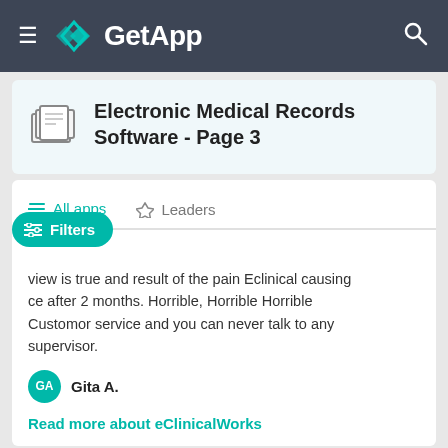GetApp
Electronic Medical Records Software - Page 3
All apps   Leaders
view is true and result of the pain Eclinical causing ce after 2 months. Horrible, Horrible Horrible Customor service and you can never talk to any supervisor.
Gita A.
Read more about eClinicalWorks
Show me more like this